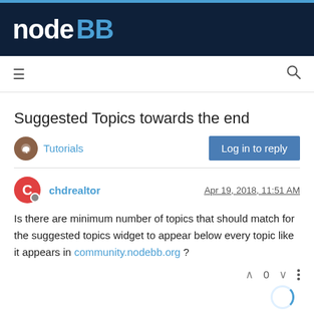NodeBB
Suggested Topics towards the end
Tutorials   Log in to reply
chdrealtor   Apr 19, 2018, 11:51 AM
Is there are minimum number of topics that should match for the suggested topics widget to appear below every topic like it appears in community.nodebb.org ?